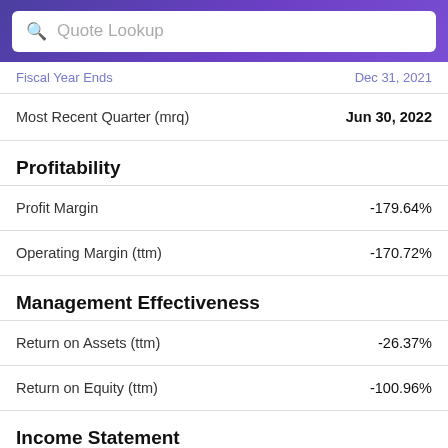Quote Lookup
Fiscal Year Ends | Dec 31, 2021
|  |  |
| --- | --- |
| Most Recent Quarter (mrq) | Jun 30, 2022 |
Profitability
|  |  |
| --- | --- |
| Profit Margin | -179.64% |
| Operating Margin (ttm) | -170.72% |
Management Effectiveness
|  |  |
| --- | --- |
| Return on Assets (ttm) | -26.37% |
| Return on Equity (ttm) | -100.96% |
Income Statement
|  |  |
| --- | --- |
| Revenue (ttm) | 89.44M |
| Revenue Per Share (ttm) | 0.38 |